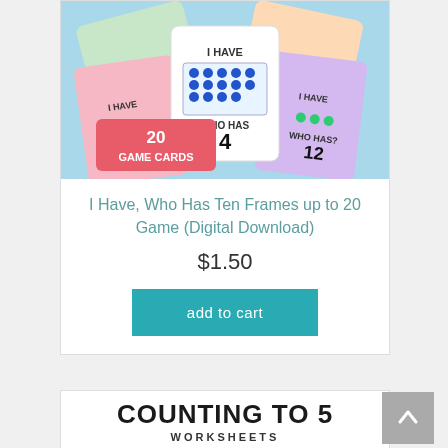[Figure (photo): Product image showing I Have Who Has Ten Frames game cards with colorful ten frame cards showing dots, numbers 4 and 12, and a pink banner reading '20 GAME CARDS' on a blue background]
I Have, Who Has Ten Frames up to 20 Game (Digital Download)
$1.50
add to cart
[Figure (photo): Product preview image for Counting to 5 Worksheets showing title text 'COUNTING TO 5 WORKSHEETS' and worksheets spread on a green background]